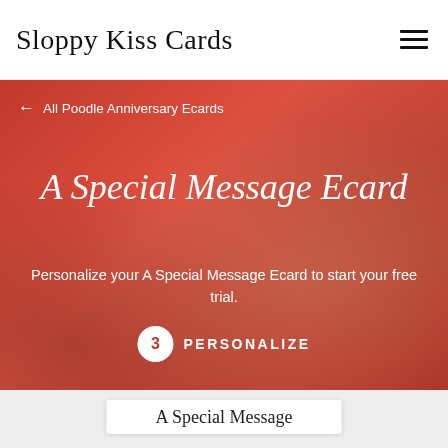Sloppy Kiss Cards
← All Poodle Anniversary Ecards
A Special Message Ecard
Personalize your A Special Message Ecard to start your free trial.
3 PERSONALIZE
A Special Message